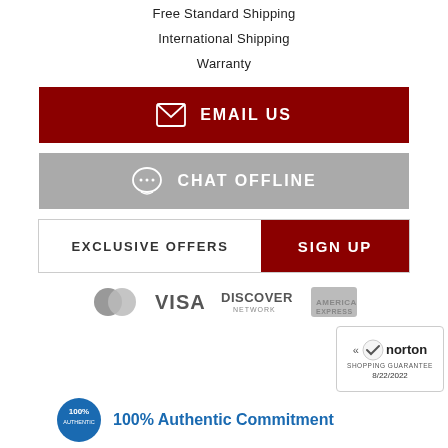Free Standard Shipping
International Shipping
Warranty
[Figure (infographic): Red button with envelope icon and text EMAIL US]
[Figure (infographic): Gray button with chat bubble icon and text CHAT OFFLINE]
[Figure (infographic): Signup row: EXCLUSIVE OFFERS label with red SIGN UP button]
[Figure (infographic): Payment logos: MasterCard, VISA, DISCOVER NETWORK, American Express]
[Figure (infographic): Norton Shopping Guarantee badge dated 8/22/2022]
[Figure (infographic): 100% Authentic Commitment badge with blue circular seal]